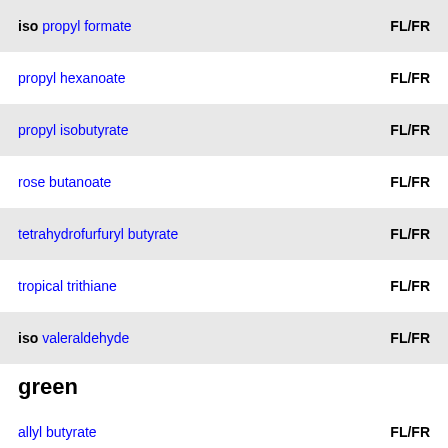iso propyl formate   FL/FR
propyl hexanoate   FL/FR
propyl isobutyrate   FL/FR
rose butanoate   FL/FR
tetrahydrofurfuryl butyrate   FL/FR
tropical trithiane   FL/FR
iso valeraldehyde   FL/FR
green
allyl butyrate   FL/FR
iso amyl isovalerate   FL/FR
iso butyl 2-butenoate   FL/FR